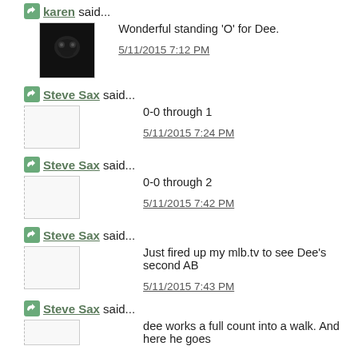karen said... Wonderful standing 'O' for Dee. 5/11/2015 7:12 PM
Steve Sax said... 0-0 through 1 5/11/2015 7:24 PM
Steve Sax said... 0-0 through 2 5/11/2015 7:42 PM
Steve Sax said... Just fired up my mlb.tv to see Dee's second AB 5/11/2015 7:43 PM
Steve Sax said... dee works a full count into a walk. And here he goes